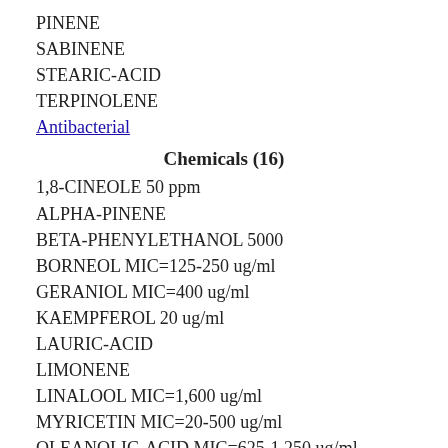PINENE
SABINENE
STEARIC-ACID
TERPINOLENE
Antibacterial
Chemicals (16)
1,8-CINEOLE 50 ppm
ALPHA-PINENE
BETA-PHENYLETHANOL 5000
BORNEOL MIC=125-250 ug/ml
GERANIOL MIC=400 ug/ml
KAEMPFEROL 20 ug/ml
LAURIC-ACID
LIMONENE
LINALOOL MIC=1,600 ug/ml
MYRICETIN MIC=20-500 ug/ml
OLEANOLIC-ACID MIC=625-1,250 ug/ml
P-CYMENE
PINENE
QUERCETIN